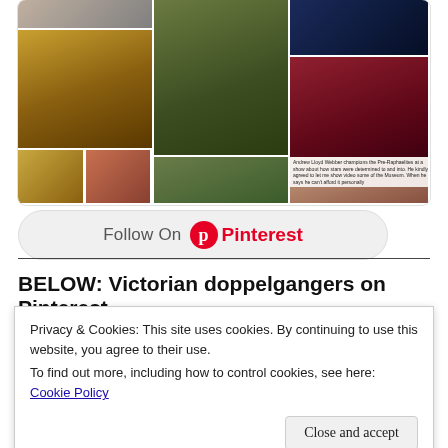[Figure (screenshot): Pinterest widget showing a grid of art/museum images including Pre-Raphaelite paintings and museum visitors]
Follow On Pinterest
BELOW: Victorian doppelgangers on Pinterest
Privacy & Cookies: This site uses cookies. By continuing to use this website, you agree to their use.
To find out more, including how to control cookies, see here:
Cookie Policy
Close and accept